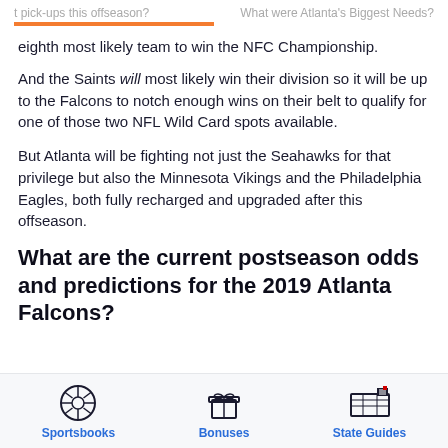t pick-ups this offseason?   What were Atlanta's Biggest Needs?
eighth most likely team to win the NFC Championship.
And the Saints will most likely win their division so it will be up to the Falcons to notch enough wins on their belt to qualify for one of those two NFL Wild Card spots available.
But Atlanta will be fighting not just the Seahawks for that privilege but also the Minnesota Vikings and the Philadelphia Eagles, both fully recharged and upgraded after this offseason.
What are the current postseason odds and predictions for the 2019 Atlanta Falcons?
[Figure (infographic): Three navigation icons with labels: Sportsbooks (soccer ball icon), Bonuses (gift box icon), State Guides (US map with flag icon)]